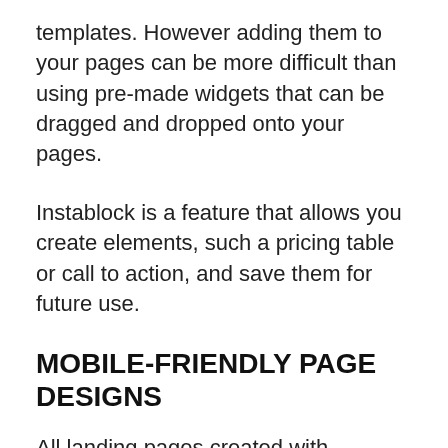templates. However adding them to your pages can be more difficult than using pre-made widgets that can be dragged and dropped onto your pages.
Instablock is a feature that allows you create elements, such a pricing table or call to action, and save them for future use.
MOBILE-FRIENDLY PAGE DESIGNS
All landing pages created with Instapage by default are mobile-friendly. You can change to mobile view in the